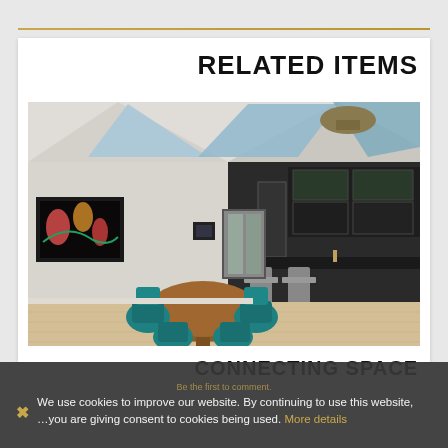RELATED ITEMS
[Figure (photo): Interior photo of a modern mid-century home showing a dining area with teal chairs around a round wood table, floor-to-ceiling windows with exposed beam ceiling, a dark bar area with glass-front cabinets and bar stools, artwork on the wall, and light wood flooring.]
CONNECTING SPACE
Be the first to comment.
We use cookies to improve our website. By continuing to use this website, …you are giving consent to cookies being used. More details